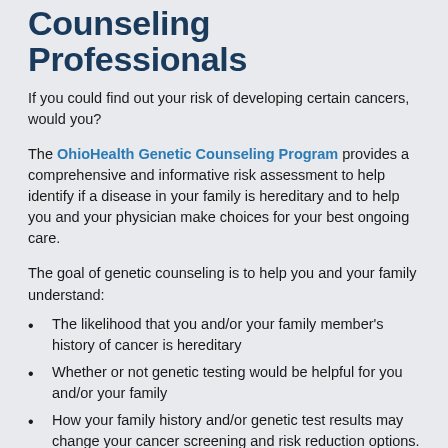Counseling Professionals
If you could find out your risk of developing certain cancers, would you?
The OhioHealth Genetic Counseling Program provides a comprehensive and informative risk assessment to help identify if a disease in your family is hereditary and to help you and your physician make choices for your best ongoing care.
The goal of genetic counseling is to help you and your family understand:
The likelihood that you and/or your family member's history of cancer is hereditary
Whether or not genetic testing would be helpful for you and/or your family
How your family history and/or genetic test results may change your cancer screening and risk reduction options.
In a recent interview with the Columbus Dispatch, Nichole Morman, OhioHealth manager of genetic